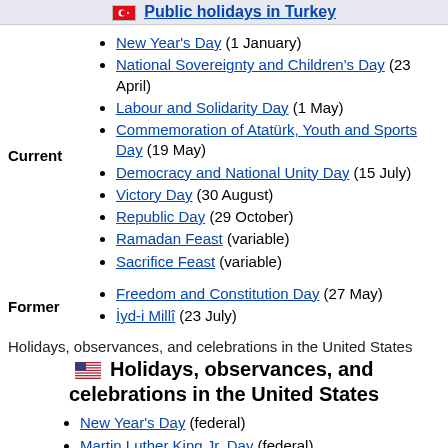Public holidays in Turkey
|  | Current holidays |
| --- | --- |
| Current | New Year's Day (1 January)
National Sovereignty and Children's Day (23 April)
Labour and Solidarity Day (1 May)
Commemoration of Atatürk, Youth and Sports Day (19 May)
Democracy and National Unity Day (15 July)
Victory Day (30 August)
Republic Day (29 October)
Ramadan Feast (variable)
Sacrifice Feast (variable) |
| Former | Freedom and Constitution Day (27 May)
İyd-i Millî (23 July) |
Holidays, observances, and celebrations in the United States
Holidays, observances, and celebrations in the United States
New Year's Day (federal)
Martin Luther King Jr. Day (federal)
Birthday of Eugenio María de Hostos (PR)
Confederate Heroes Day (TX)
Eve of Three Kings' Day (PR, religious)